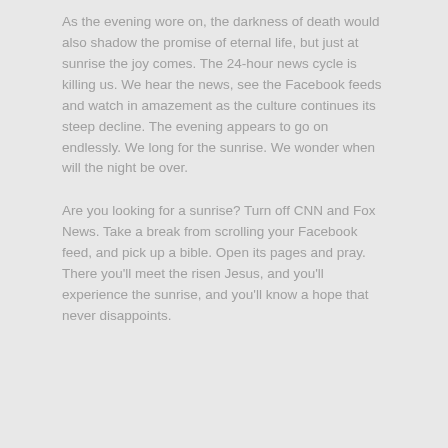As the evening wore on, the darkness of death would also shadow the promise of eternal life, but just at sunrise the joy comes. The 24-hour news cycle is killing us. We hear the news, see the Facebook feeds and watch in amazement as the culture continues its steep decline. The evening appears to go on endlessly. We long for the sunrise. We wonder when will the night be over.
Are you looking for a sunrise? Turn off CNN and Fox News. Take a break from scrolling your Facebook feed, and pick up a bible. Open its pages and pray. There you'll meet the risen Jesus, and you'll experience the sunrise, and you'll know a hope that never disappoints.